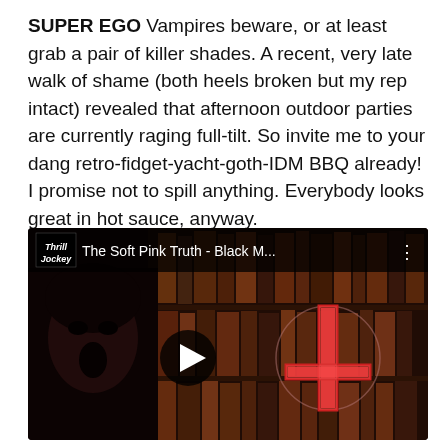SUPER EGO Vampires beware, or at least grab a pair of killer shades. A recent, very late walk of shame (both heels broken but my rep intact) revealed that afternoon outdoor parties are currently raging full-tilt. So invite me to your dang retro-fidget-yacht-goth-IDM BBQ already! I promise not to spill anything. Everybody looks great in hot sauce, anyway.
[Figure (screenshot): YouTube video thumbnail for 'The Soft Pink Truth - Black M...' from Thrill Jockey channel. Shows a goth-styled person with dark makeup and open mouth, with a glowing red inverted cross overlaid. A play button circle is visible in the center.]